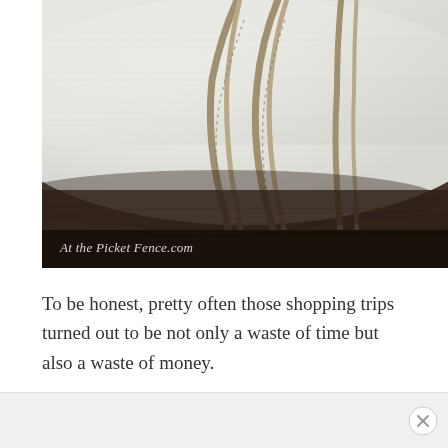[Figure (photo): Close-up photograph of a white linen bolster pillow or cushion roll with decorative braided rope trim in a natural tan/jute color forming looping patterns across the fabric surface, resting on a dark wood surface. A watermark reads 'At the Picket Fence.com' in cursive at the bottom left.]
To be honest, pretty often those shopping trips turned out to be not only a waste of time but also a waste of money.